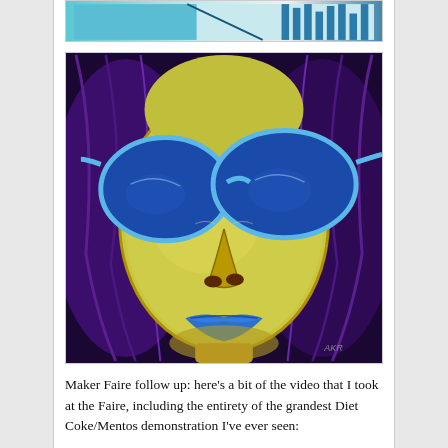[Figure (illustration): Partial top image visible at top of page, showing a colorful illustration with teal/cyan background and dark bar-like vertical elements]
[Figure (illustration): Artwork of a face with large blue sunglasses, yellow-green skin tones, blue lips, and purple hair, rendered in a bold colorful painted style, signed in the lower right corner]
Maker Faire follow up: here’s a bit of the video that I took at the Faire, including the entirety of the grandest Diet Coke/Mentos demonstration I’ve ever seen: